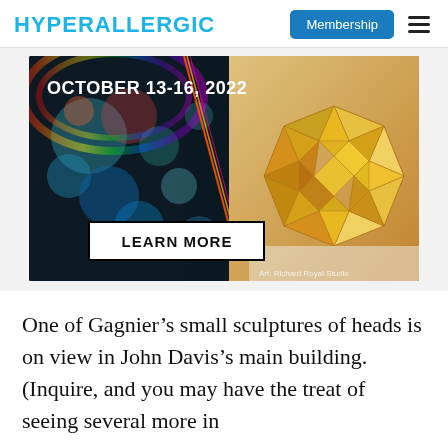HYPERALLERGIC
[Figure (illustration): Advertisement banner for an art event with text 'OCTOBER 13-16, 2022' and a 'LEARN MORE' button. The image shows colorful light bokeh on the left half and a golden geometric origami-style sculpture on the right half. Credit: Art: Richard Royal Studio.]
One of Gagnier’s small sculptures of heads is on view in John Davis’s main building. (Inquire, and you may have the treat of seeing several more in